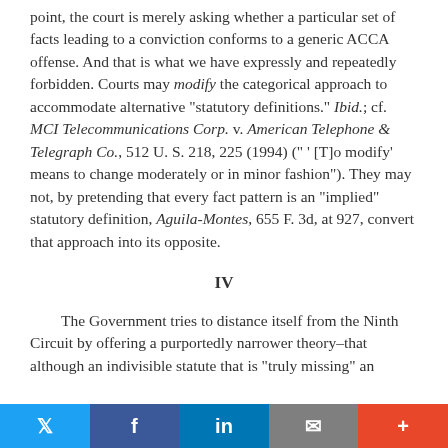point, the court is merely asking whether a particular set of facts leading to a conviction conforms to a generic ACCA offense. And that is what we have expressly and repeatedly forbidden. Courts may modify the categorical approach to accommodate alternative "statutory definitions." Ibid.; cf. MCI Telecommunications Corp. v. American Telephone & Telegraph Co., 512 U. S. 218, 225 (1994) (" ' [T]o modify' means to change moderately or in minor fashion"). They may not, by pretending that every fact pattern is an "implied" statutory definition, Aguila-Montes, 655 F. 3d, at 927, convert that approach into its opposite.
IV
The Government tries to distance itself from the Ninth Circuit by offering a purportedly narrower theory–that although an indivisible statute that is "truly missing" an
social sharing bar